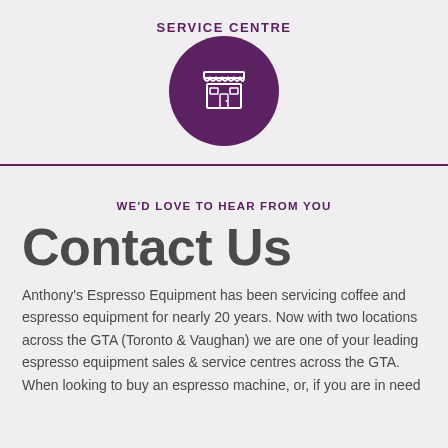SERVICE CENTRE
[Figure (illustration): Dark purple circle containing a white line-art icon of a market stall or shop front with an awning and door]
WE'D LOVE TO HEAR FROM YOU
Contact Us
Anthony's Espresso Equipment has been servicing coffee and espresso equipment for nearly 20 years. Now with two locations across the GTA (Toronto & Vaughan) we are one of your leading espresso equipment sales & service centres across the GTA. When looking to buy an espresso machine, or, if you are in need